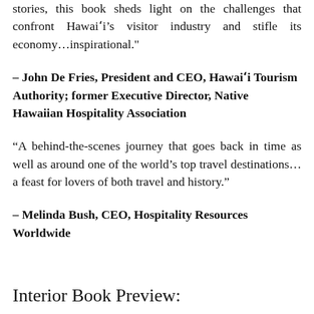stories, this book sheds light on the challenges that confront Hawaiʻi’s visitor industry and stifle its economy…inspirational."
– John De Fries, President and CEO, Hawaiʻi Tourism Authority; former Executive Director, Native Hawaiian Hospitality Association
“A behind-the-scenes journey that goes back in time as well as around one of the world’s top travel destinations…a feast for lovers of both travel and history."
– Melinda Bush, CEO, Hospitality Resources Worldwide
Interior Book Preview: